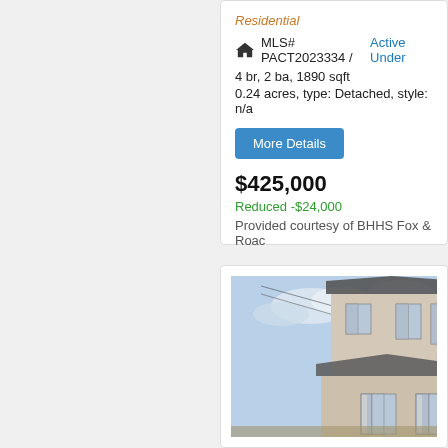Residential
MLS# PACT2023334 / Active Under
4 br, 2 ba, 1890 sqft
0.24 acres, type: Detached, style: n/a
More Details
$425,000
Reduced -$24,000
Provided courtesy of BHHS Fox & Roac
[Figure (photo): Exterior photo of a two-story detached residential house with grey roof, white/beige stucco siding, multiple windows, and utility wires visible against a partly cloudy sky.]